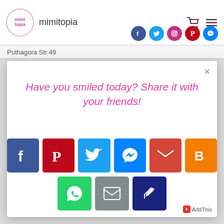mimitopia
Puthagora Str 49
Have you smiled today? Share it with your friends!
[Figure (infographic): Social media share buttons: Facebook, Pinterest, Twitter, Messenger, Gmail, Blogger, WhatsApp, Email, Pinboard/AddThis]
AddThis